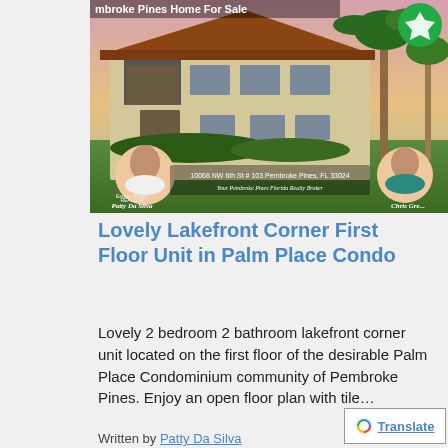[Figure (photo): Real estate listing photo showing a beige/tan two-story condo building with red tile roof, palm trees, green lawn, sunset sky. Two agent headshots overlaid at bottom corners. Text overlay: '10068 NW 6th St # 103 Pembroke Pines, FL 33024'. Banner at top: 'mbroke Pines Home For Sale'. Green logo badge top right.]
Lovely Lakefront Corner First Floor Unit in Palm Place Condo
Lovely 2 bedroom 2 bathroom lakefront corner unit located on the first floor of the desirable Palm Place Condominium community of Pembroke Pines. Enjoy an open floor plan with tile…
Written by Patty Da Silva